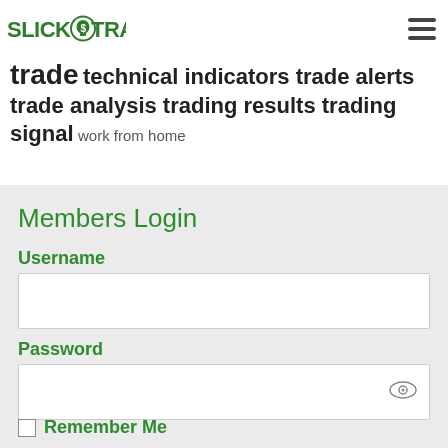[Figure (logo): SlickTrade logo with green lightbulb containing dollar sign]
trade technical indicators trade alerts trade analysis trading results trading signal work from home
Members Login
Username
Password
Remember Me